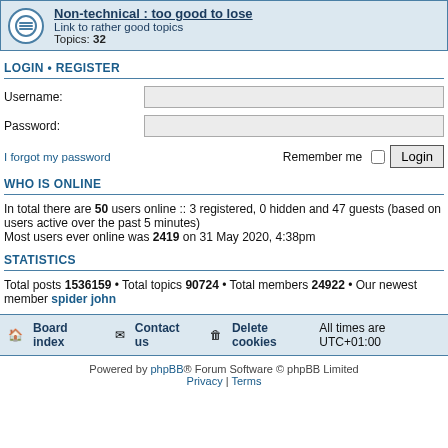[Figure (screenshot): Forum category row: Non-technical : too good to lose, with icon, description and topic count]
LOGIN • REGISTER
Username:
Password:
I forgot my password   Remember me  Login
WHO IS ONLINE
In total there are 50 users online :: 3 registered, 0 hidden and 47 guests (based on users active over the past 5 minutes)
Most users ever online was 2419 on 31 May 2020, 4:38pm
STATISTICS
Total posts 1536159 • Total topics 90724 • Total members 24922 • Our newest member spider john
Board index   Contact us   Delete cookies   All times are UTC+01:00
Powered by phpBB® Forum Software © phpBB Limited
Privacy | Terms